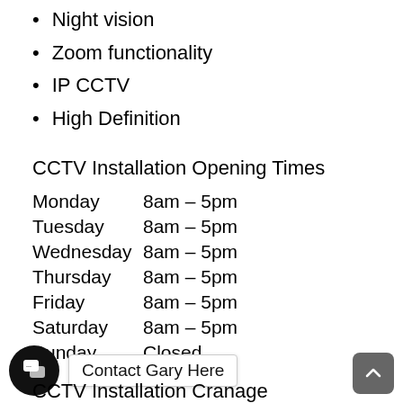Night vision
Zoom functionality
IP CCTV
High Definition
CCTV Installation Opening Times
| Day | Hours |
| --- | --- |
| Monday | 8am – 5pm |
| Tuesday | 8am – 5pm |
| Wednesday | 8am – 5pm |
| Thursday | 8am – 5pm |
| Friday | 8am – 5pm |
| Saturday | 8am – 5pm |
| Sunday | Closed |
Contact Gary Here
CCTV Installation Cranage